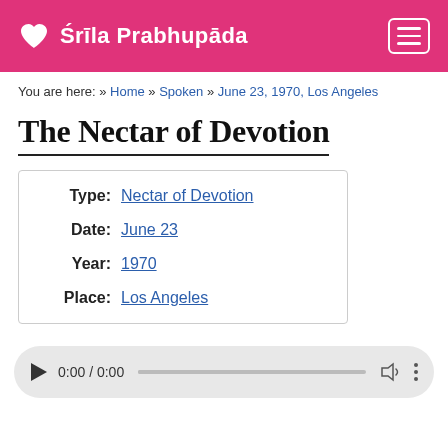Śrīla Prabhupāda
You are here: » Home » Spoken » June 23, 1970, Los Angeles
The Nectar of Devotion
| Field | Value |
| --- | --- |
| Type: | Nectar of Devotion |
| Date: | June 23 |
| Year: | 1970 |
| Place: | Los Angeles |
[Figure (other): Audio player showing 0:00 / 0:00 with play button, progress bar, volume and menu icons]